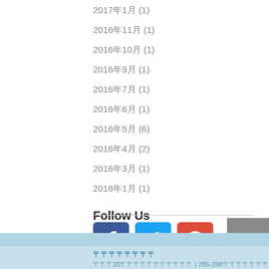2017年1月 (1)
2016年11月 (1)
2016年10月 (1)
2016年9月 (1)
2016年7月 (1)
2016年6月 (1)
2016年5月 (6)
2016年4月 (2)
2016年3月 (1)
2016年1月 (1)
Follow Us
[Figure (illustration): Social media icons: Facebook (blue), Twitter (light blue), Google+ (red), and a back-to-top arrow button (grey)]
〒〒〒〒〒〒〒〒 | 295-298〒〒〒〒〒〒〒〒